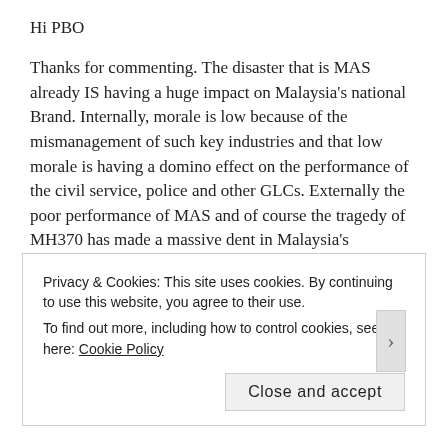Hi PBO
Thanks for commenting. The disaster that is MAS already IS having a huge impact on Malaysia's national Brand. Internally, morale is low because of the mismanagement of such key industries and that low morale is having a domino effect on the performance of the civil service, police and other GLCs. Externally the poor performance of MAS and of course the tragedy of MH370 has made a massive dent in Malaysia's reputation.
At the moment there doesn't seem to be the will to change anything and that worries me.
★ Like
Privacy & Cookies: This site uses cookies. By continuing to use this website, you agree to their use.
To find out more, including how to control cookies, see here: Cookie Policy
Close and accept